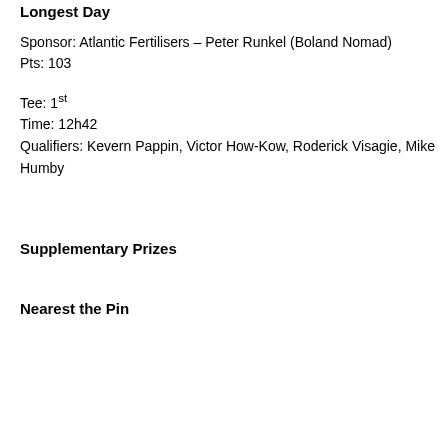Longest Day
Sponsor: Atlantic Fertilisers – Peter Runkel (Boland Nomad)
Pts: 103
Tee: 1st
Time: 12h42
Qualifiers: Kevern Pappin, Victor How-Kow, Roderick Visagie, Mike Humby
Supplementary Prizes
Nearest the Pin